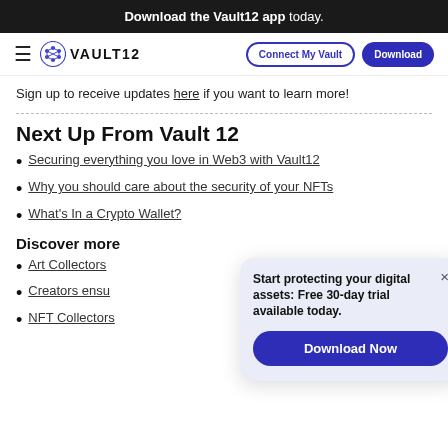Download the Vault12 app today.
[Figure (logo): Vault12 navigation bar with hamburger menu, Vault12 logo, Connect My Vault and Download buttons]
Sign up to receive updates here if you want to learn more!
Next Up From Vault 12
Securing everything you love in Web3 with Vault12
Why you should care about the security of your NFTs
What's In a Crypto Wallet?
Discover more
Art Collectors
Creators ensu
NFT Collectors
Start protecting your digital assets: Free 30-day trial available today.
Download Now